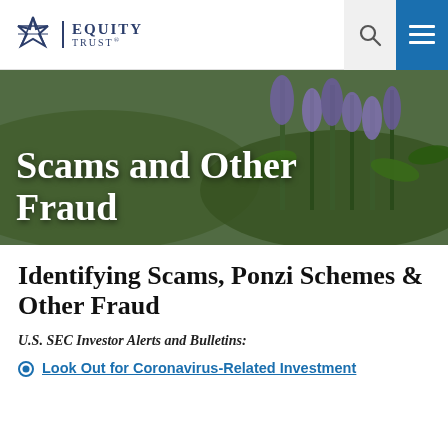[Figure (logo): Equity Trust logo with star icon and company name]
[Figure (photo): Hero banner photo of purple lupine flowers in a field with green foliage and hills in background, overlaid with white text 'Scams and Other Fraud']
Scams and Other Fraud
Identifying Scams, Ponzi Schemes & Other Fraud
U.S. SEC Investor Alerts and Bulletins:
Look Out for Coronavirus-Related Investment